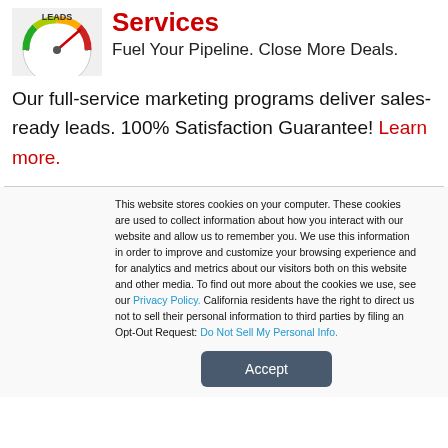[Figure (photo): Speedometer/gauge image with 'LEADS' text, red arrow pointing right]
Services
Fuel Your Pipeline. Close More Deals.
Our full-service marketing programs deliver sales-ready leads. 100% Satisfaction Guarantee! Learn more.
This website stores cookies on your computer. These cookies are used to collect information about how you interact with our website and allow us to remember you. We use this information in order to improve and customize your browsing experience and for analytics and metrics about our visitors both on this website and other media. To find out more about the cookies we use, see our Privacy Policy. California residents have the right to direct us not to sell their personal information to third parties by filing an Opt-Out Request: Do Not Sell My Personal Info.